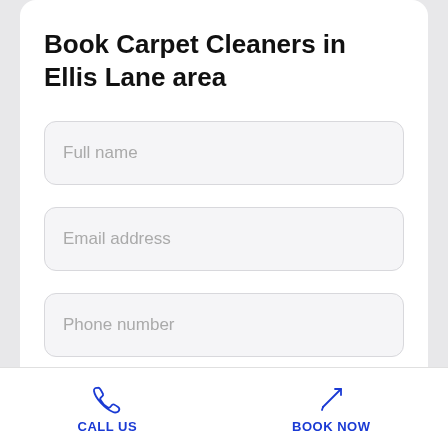Book Carpet Cleaners in Ellis Lane area
Full name
Email address
Phone number
CALL US
BOOK NOW